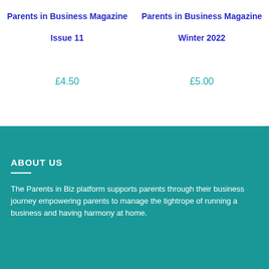Parents in Business Magazine
Issue 11
£4.50
Parents in Business Magazine
Winter 2022
£5.00
ABOUT US
The Parents in Biz platform supports parents through their business journey empowering parents to manage the tightrope of running a business and having harmony at home.